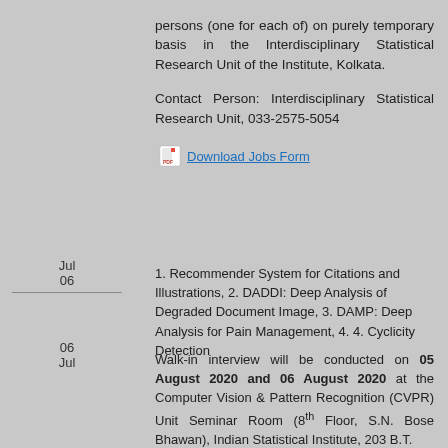persons (one for each of) on purely temporary basis in the Interdisciplinary Statistical Research Unit of the Institute, Kolkata.
Contact Person: Interdisciplinary Statistical Research Unit, 033-2575-5054
Download Jobs Form
Jul 06
1. Recommender System for Citations and Illustrations, 2. DADDI: Deep Analysis of Degraded Document Image, 3. DAMP: Deep Analysis for Pain Management, 4. 4. Cyclicity Detection
06 Jul
Walk-in interview will be conducted on 05 August 2020 and 06 August 2020 at the Computer Vision & Pattern Recognition (CVPR) Unit Seminar Room (8th Floor, S.N. Bose Bhawan), Indian Statistical Institute, 203 B.T.